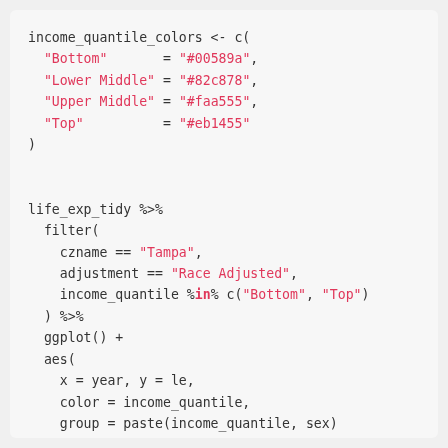R code snippet showing income_quantile_colors vector assignment and life_exp_tidy pipeline with ggplot2 visualization code